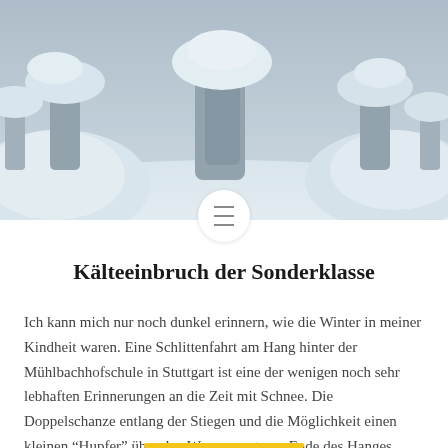[Figure (photo): Winter snow scene photograph showing snow-covered trees and landscape in muted blue-grey tones]
Kälteeinbruch der Sonderklasse
Ich kann mich nur noch dunkel erinnern, wie die Winter in meiner Kindheit waren. Eine Schlittenfahrt am Hang hinter der Mühlbachhofschule in Stuttgart ist eine der wenigen noch sehr lebhaften Erinnerungen an die Zeit mit Schnee. Die Doppelschanze entlang der Stiegen und die Möglichkeit einen kleinen "Hupfer" über den Weg am unteren Ende des Hanges...